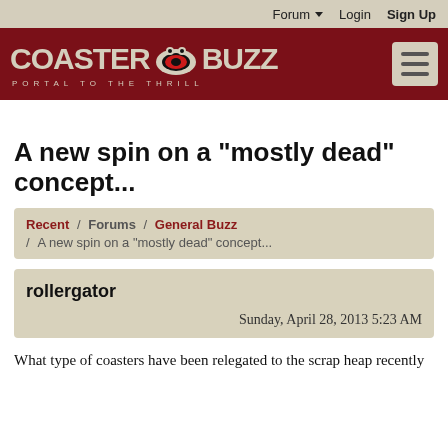Forum  Login  Sign Up
[Figure (logo): CoasterBuzz logo — red background, stylized text COASTER BUZZ with oval graphic, tagline PORTAL TO THE THRILL]
A new spin on a "mostly dead" concept...
Recent / Forums / General Buzz / A new spin on a "mostly dead" concept...
rollergator
Sunday, April 28, 2013 5:23 AM
What type of coasters have been relegated to the scrap heap recently